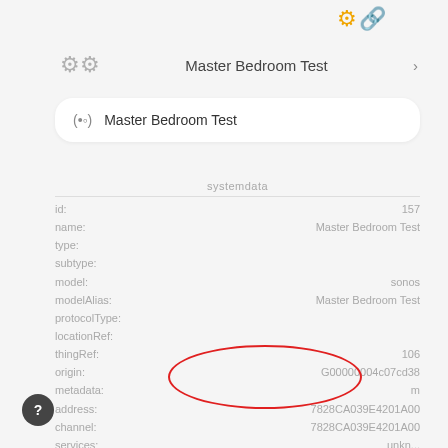[Figure (screenshot): App screenshot showing device info for Master Bedroom Test with systemdata fields including id, name, type, subtype, model, modelAlias, protocolType, locationRef, thingRef, origin, metadata, address, channel, services. Address and channel values 7828CA039E4201A00 are circled in red.]
?